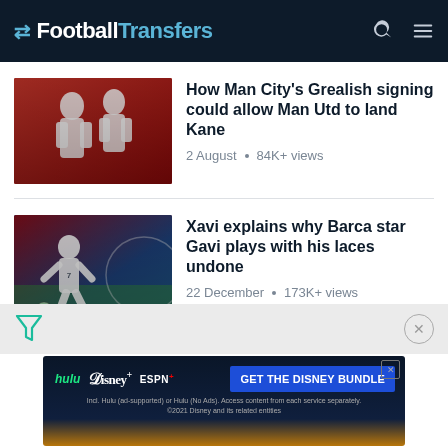FootballTransfers
How Man City's Grealish signing could allow Man Utd to land Kane
2 August • 84K+ views
Xavi explains why Barca star Gavi plays with his laces undone
22 December • 173K+ views
[Figure (screenshot): Disney Bundle advertisement banner with Hulu, Disney+, ESPN+ logos and 'GET THE DISNEY BUNDLE' call-to-action button]